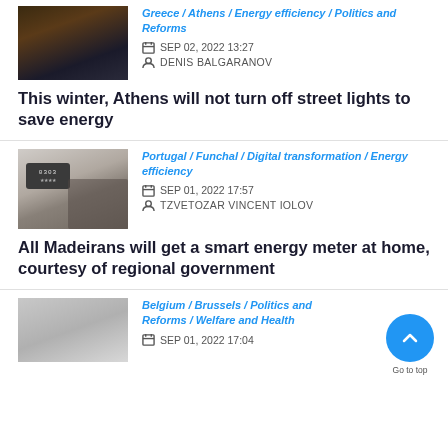Greece / Athens / Energy efficiency / Politics and Reforms
SEP 02, 2022 13:27
DENIS BALGARANOV
This winter, Athens will not turn off street lights to save energy
Portugal / Funchal / Digital transformation / Energy efficiency
SEP 01, 2022 17:57
TZVETOZAR VINCENT IOLOV
All Madeirans will get a smart energy meter at home, courtesy of regional government
Belgium / Brussels / Politics and Reforms / Welfare and Health
SEP 01, 2022 17:04